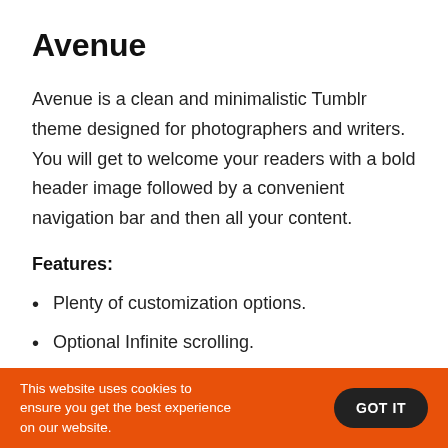Avenue
Avenue is a clean and minimalistic Tumblr theme designed for photographers and writers. You will get to welcome your readers with a bold header image followed by a convenient navigation bar and then all your content.
Features:
Plenty of customization options.
Optional Infinite scrolling.
Supports over 15 social media networks along with dedicated icons.
This website uses cookies to ensure you get the best experience on our website. GOT IT